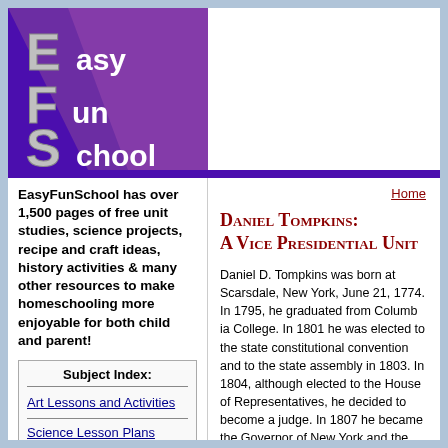[Figure (logo): EasyFunSchool logo with stylized letters E, F, S on purple background with text 'asy', 'un', 'chool']
EasyFunSchool has over 1,500 pages of free unit studies, science projects, recipe and craft ideas, history activities & many other resources to make homeschooling more enjoyable for both child and parent!
Subject Index:
Art Lessons and Activities
Science Lesson Plans
Home
Daniel Tompkins: A Vice Presidential Unit
Daniel D. Tompkins was born at Scarsdale, New York, June 21, 1774. In 1795, he graduated from Columbia College. In 1801 he was elected to the state constitutional convention and to the state assembly in 1803. In 1804, although elected to the House of Representatives, he decided to become a justice. In 1807 he became the Governor of New York and then the Vice President of the United States under James Monroe. He became so involved in the War of 1812 that he was active in equipping the militia and there was a shortage of $120,000 in the money. He was a delegate of the state constitutional convention. He
Political Party: Democratic-Republican